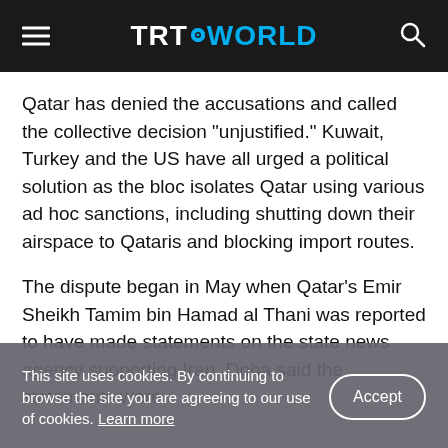TRT WORLD
Qatar has denied the accusations and called the collective decision "unjustified." Kuwait, Turkey and the US have all urged a political solution as the bloc isolates Qatar using various ad hoc sanctions, including shutting down their airspace to Qataris and blocking import routes.
The dispute began in May when Qatar's Emir Sheikh Tamim bin Hamad al Thani was reported to have made statements on the state news agency supporting Iran. Doha said the statements were
This site uses cookies. By continuing to browse the site you are agreeing to our use of cookies. Learn more